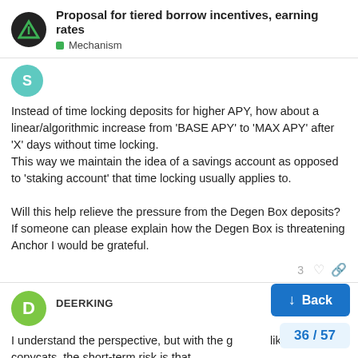Proposal for tiered borrow incentives, earning rates — Mechanism
Instead of time locking deposits for higher APY, how about a linear/algorithmic increase from 'BASE APY' to 'MAX APY' after 'X' days without time locking.
This way we maintain the idea of a savings account as opposed to 'staking account' that time locking usually applies to.

Will this help relieve the pressure from the Degen Box deposits? If someone can please explain how the Degen Box is threatening Anchor I would be grateful.
DEERKING
I understand the perspective, but with the g likely copycats, the short-term risk is that